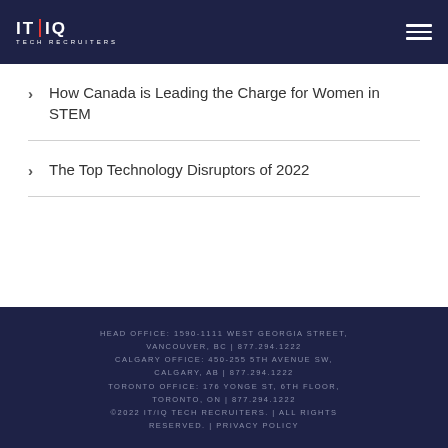IT IQ TECH RECRUITERS
How Canada is Leading the Charge for Women in STEM
The Top Technology Disruptors of 2022
HEAD OFFICE: 1590-1111 WEST GEORGIA STREET, VANCOUVER, BC | 877.294.1222 CALGARY OFFICE: 450-255 5TH AVENUE SW, CALGARY, AB | 877.294.1222 TORONTO OFFICE: 176 YONGE ST, 6TH FLOOR, TORONTO, ON | 877.294.1222 ©2022 IT/IQ TECH RECRUITERS. | ALL RIGHTS RESERVED. | PRIVACY POLICY